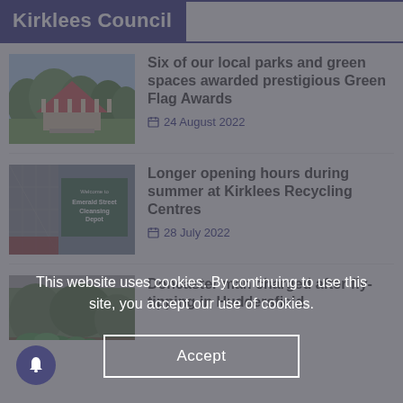Kirklees Council
[Figure (photo): A bandstand in a green park setting with trees in background]
Six of our local parks and green spaces awarded prestigious Green Flag Awards
24 August 2022
[Figure (photo): A sign reading 'Welcome to Emerald Street Cleansing Depot' on a fence]
Longer opening hours during summer at Kirklees Recycling Centres
28 July 2022
[Figure (photo): Fly-tipped green bags of waste in a wooded area]
Doncaster man charged after fly-tipping in Huddersfield
This website uses cookies. By continuing to use this site, you accept our use of cookies.
Accept